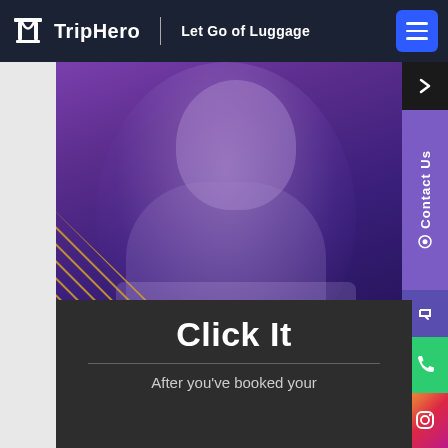TripHero | Let Go of Luggage
[Figure (photo): A young man with tattoos smiling while looking down at a laptop, with a purple/violet color overlay on the photo. Diagonal orange/yellow hatched stripe decoration in lower left corner.]
Click It
After you've booked your